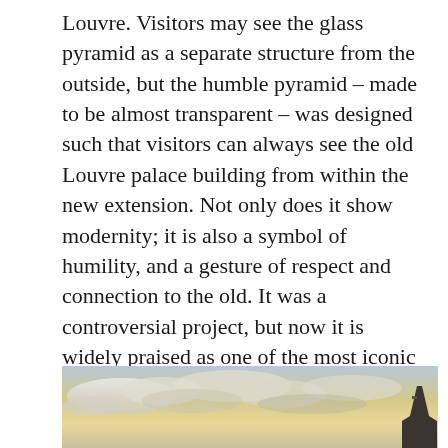Louvre. Visitors may see the glass pyramid as a separate structure from the outside, but the humble pyramid – made to be almost transparent – was designed such that visitors can always see the old Louvre palace building from within the new extension. Not only does it show modernity; it is also a symbol of humility, and a gesture of respect and connection to the old. It was a controversial project, but now it is widely praised as one of the most iconic buildings in Europe. Pei continued to use the same concept for the extension of the Germany Historical Museum, which is a spiral glass structure attached to the end of the old one. Another important work of Pei is the Islamic Art Museum in Qatar, which he designed after spending months to learn about Islamic Art spanning more than a millenium in history
[Figure (photo): Partial photograph showing a sky with clouds and what appears to be the tip or edge of a building structure on the right side, taken at dusk or dawn with warm golden light.]